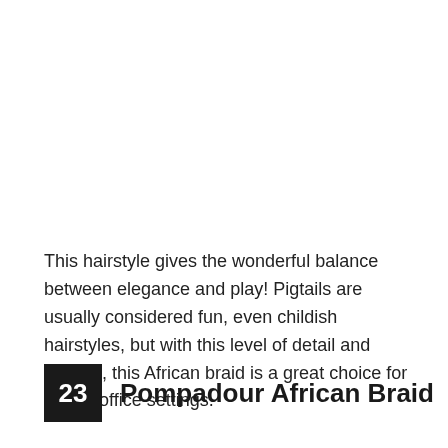This hairstyle gives the wonderful balance between elegance and play! Pigtails are usually considered fun, even childish hairstyles, but with this level of detail and volume, this African braid is a great choice for formal office settings.
23 Pompadour African Braid